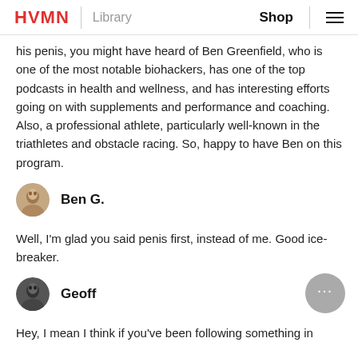HVMN | Library    Shop ≡
his penis, you might have heard of Ben Greenfield, who is one of the most notable biohackers, has one of the top podcasts in health and wellness, and has interesting efforts going on with supplements and performance and coaching. Also, a professional athlete, particularly well-known in the triathletes and obstacle racing. So, happy to have Ben on this program.
Ben G.
Well, I'm glad you said penis first, instead of me. Good ice-breaker.
Geoff
Hey, I mean I think if you've been following something in